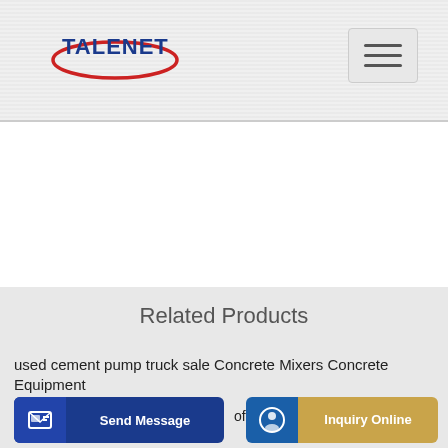[Figure (logo): TALENET company logo with red swoosh/oval accent and blue bold text]
[Figure (other): Hamburger/menu icon button in top right corner]
Related Products
used cement pump truck sale Concrete Mixers Concrete Equipment
concrete pumps for sale concrete pump depot coal crusher crushing
of
Send Message
Inquiry Online